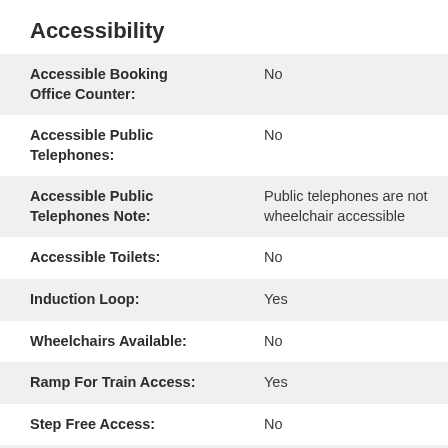Accessibility
| Field | Value |
| --- | --- |
| Accessible Booking Office Counter: | No |
| Accessible Public Telephones: | No |
| Accessible Public Telephones Note: | Public telephones are not wheelchair accessible |
| Accessible Toilets: | No |
| Induction Loop: | Yes |
| Wheelchairs Available: | No |
| Ramp For Train Access: | Yes |
| Step Free Access: | No |
| Step Free Access Note: | Category B2. This station has a degree of step-free |